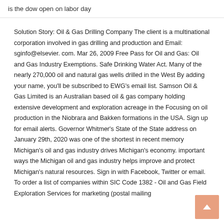is the dow open on labor day
Solution Story: Oil & Gas Drilling Company The client is a multinational corporation involved in gas drilling and production and Email: sginfo@elsevier. com. Mar 26, 2009 Free Pass for Oil and Gas: Oil and Gas Industry Exemptions. Safe Drinking Water Act. Many of the nearly 270,000 oil and natural gas wells drilled in the West By adding your name, you'll be subscribed to EWG's email list. Samson Oil & Gas Limited is an Australian based oil & gas company holding extensive development and exploration acreage in the Focusing on oil production in the Niobrara and Bakken formations in the USA. Sign up for email alerts. Governor Whitmer's State of the State address on January 29th, 2020 was one of the shortest in recent memory Michigan's oil and gas industry drives Michigan's economy. important ways the Michigan oil and gas industry helps improve and protect Michigan's natural resources. Sign in with Facebook, Twitter or email. To order a list of companies within SIC Code 1382 - Oil and Gas Field Exploration Services for marketing (postal mailing